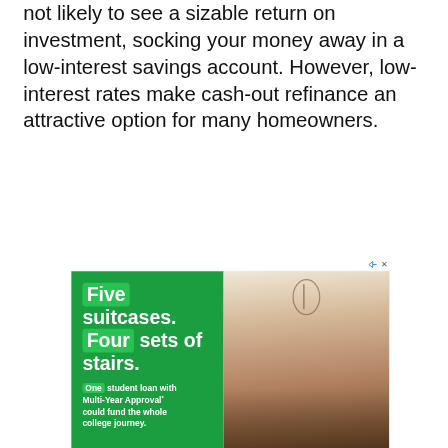not likely to see a sizable return on investment, socking your money away in a low-interest savings account. However, low-interest rates make cash-out refinance an attractive option for many homeowners.
[Figure (photo): Citizens Bank advertisement: Green left panel with text 'Five suitcases. Four sets of stairs. One student loan with Multi-Year Approval* could fund the whole college journey.' with a Learn More orange button. Right panel shows three young women sitting together laughing. Citizens logo in bottom right.]
[Figure (photo): QuickBooks advertisement banner with text 'QuickBooks / Build Your Business' and a blue OPEN button on the right.]